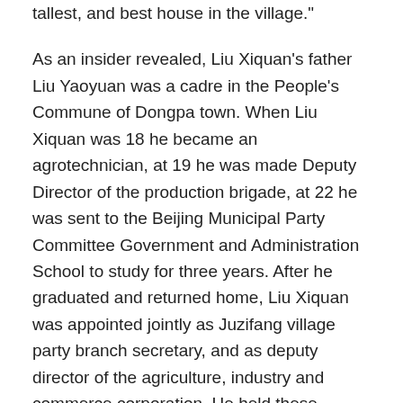tallest, and best house in the village."
As an insider revealed, Liu Xiquan's father Liu Yaoyuan was a cadre in the People's Commune of Dongpa town. When Liu Xiquan was 18 he became an agrotechnician, at 19 he was made Deputy Director of the production brigade, at 22 he was sent to the Beijing Municipal Party Committee Government and Administration School to study for three years. After he graduated and returned home, Liu Xiquan was appointed jointly as Juzifang village party branch secretary, and as deputy director of the agriculture, industry and commerce corporation. He held these positions for six years. During that period the media reported that the accumulated capital of the Juzifang village collective increased by 30 times every year.
A number of villagers said, when Liu Xiquan was village